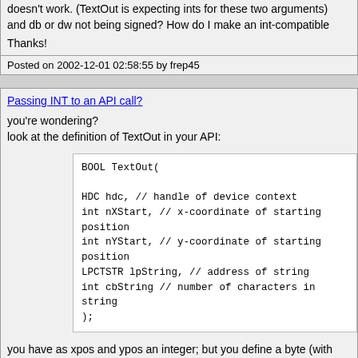doesn't work. (TextOut is expecting ints for these two arguments) and db or dw not being signed? How do I make an int-compatible
Thanks!
Posted on 2002-12-01 02:58:55 by frep45
Passing INT to an API call?
you're wondering?
look at the definition of TextOut in your API:
BOOL TextOut(

HDC hdc, // handle of device context
int nXStart, // x-coordinate of starting position
int nYStart, // y-coordinate of starting position
LPCTSTR lpString, // address of string
int cbString // number of characters in string
);
you have as xpos and ypos an integer; but you define a byte (with (same size as an integer) with dw, but a word sould work too (dd)
Posted on 2002-12-01 03:49:45 by hartyl
Passing INT to an API call?
Yes, one thing to remember is that Masm32 only does type check